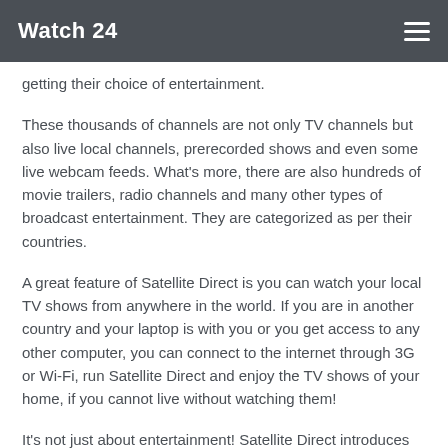Watch 24
getting their choice of entertainment.
These thousands of channels are not only TV channels but also live local channels, prerecorded shows and even some live webcam feeds. What's more, there are also hundreds of movie trailers, radio channels and many other types of broadcast entertainment. They are categorized as per their countries.
A great feature of Satellite Direct is you can watch your local TV shows from anywhere in the world. If you are in another country and your laptop is with you or you get access to any other computer, you can connect to the internet through 3G or Wi-Fi, run Satellite Direct and enjoy the TV shows of your home, if you cannot live without watching them!
It's not just about entertainment! Satellite Direct introduces you to a variety of cultures from all over the world, increases your knowledge, keeps you well-informed, develops more number of